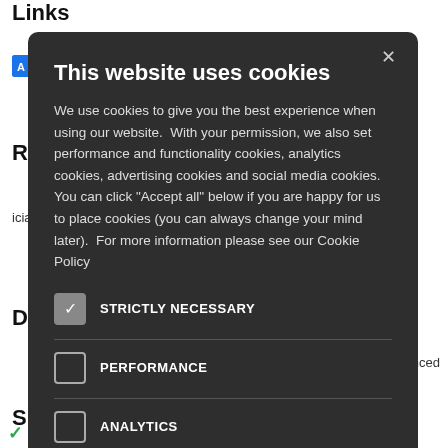Links
https://www.accenture.com/_.acnmedia/PDF-174/Acc...
R
icial)
D
act Advanced
S
[Figure (screenshot): Cookie consent modal dialog with dark background. Title: 'This website uses cookies'. Body text explains cookie usage. Checkboxes for: STRICTLY NECESSARY (checked), PERFORMANCE (unchecked), ANALYTICS (unchecked), FUNCTIONALITY (unchecked), SOCIAL MEDIA (unchecked). Close X button at top right.]
Includes a CEO statement of continued support for the